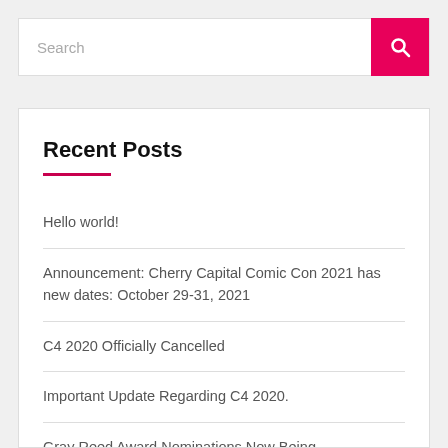Search
Recent Posts
Hello world!
Announcement: Cherry Capital Comic Con 2021 has new dates: October 29-31, 2021
C4 2020 Officially Cancelled
Important Update Regarding C4 2020.
Gray Reed Award Nominations Now Being